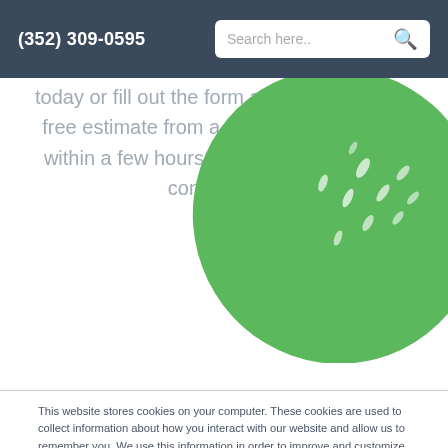(352) 309-0595
today or fill out the form above to receive a free estimate from a member of our team within a few hours and schedule a FREE consultation.
[Figure (illustration): Green leaf/blob shape overlapping the hero text area]
This website stores cookies on your computer. These cookies are used to collect information about how you interact with our website and allow us to remember you. We use this information in order to improve and customize your browsing experience and for analytics and metrics about our visitors both on this website and other media. To find out more about the cookies we use, see our Privacy Policy

If you decline, your information won't be tracked when you visit this website. A single cookie will be used in your browser to remember your preference not to be tracked.